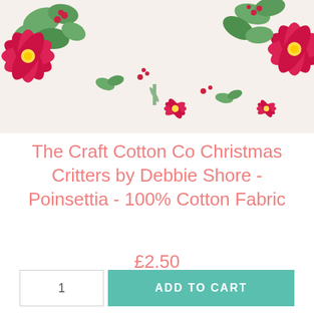[Figure (photo): Christmas floral fabric pattern showing red poinsettia flowers and green holly/mistletoe leaves on a cream/off-white background]
The Craft Cotton Co Christmas Critters by Debbie Shore - Poinsettia - 100% Cotton Fabric
£2.50
1  ADD TO CART